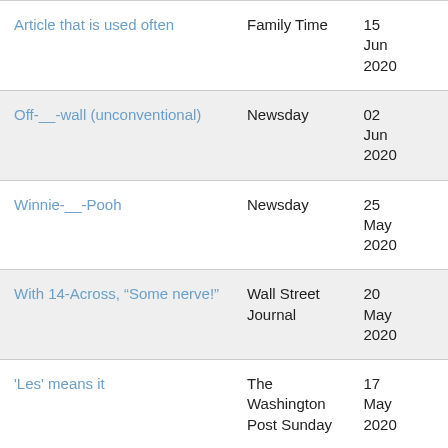| Article that is used often | Family Time | 15 Jun 2020 |
| Off-__-wall (unconventional) | Newsday | 02 Jun 2020 |
| Winnie-__-Pooh | Newsday | 25 May 2020 |
| With 14-Across, “Some nerve!” | Wall Street Journal | 20 May 2020 |
| 'Les' means it | The Washington Post Sunday | 17 May 2020 |